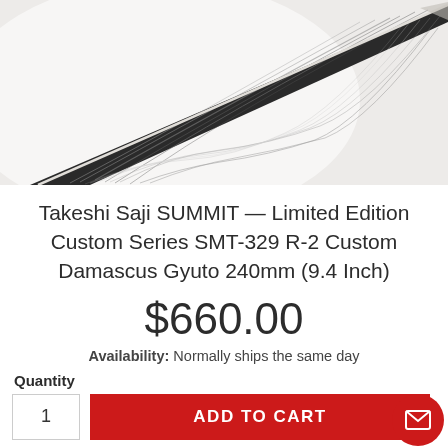[Figure (photo): Close-up photo of a Damascus steel knife blade with intricate wave patterns on a white/grey background. The blade is angled diagonally with the tip pointing to the upper right.]
Takeshi Saji SUMMIT — Limited Edition Custom Series SMT-329 R-2 Custom Damascus Gyuto 240mm (9.4 Inch)
$660.00
Availability: Normally ships the same day
Quantity
ADD TO CART